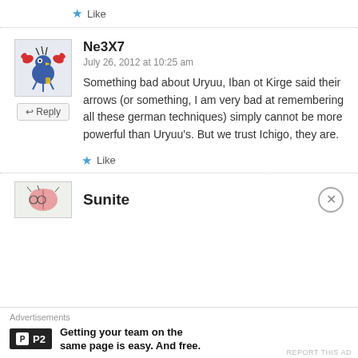★ Like
Ne3X7
July 26, 2012 at 10:25 am
Something bad about Uryuu, Iban ot Kirge said their arrows (or something, I am very bad at remembering all these german techniques) simply cannot be more powerful than Uryuu's. But we trust Ichigo, they are.
★ Like
Sunite
Advertisements
Getting your team on the same page is easy. And free.